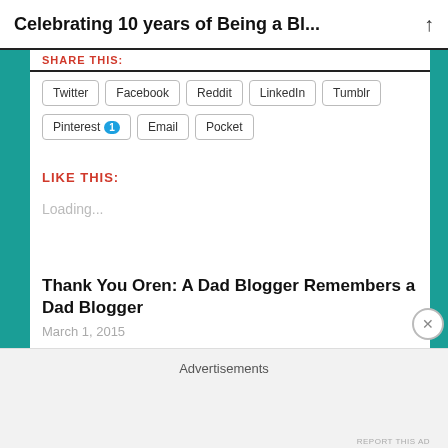Celebrating 10 years of Being a Bl...
SHARE THIS:
Twitter
Facebook
Reddit
LinkedIn
Tumblr
Pinterest 1
Email
Pocket
LIKE THIS:
Loading...
Thank You Oren: A Dad Blogger Remembers a Dad Blogger
March 1, 2015
Advertisements